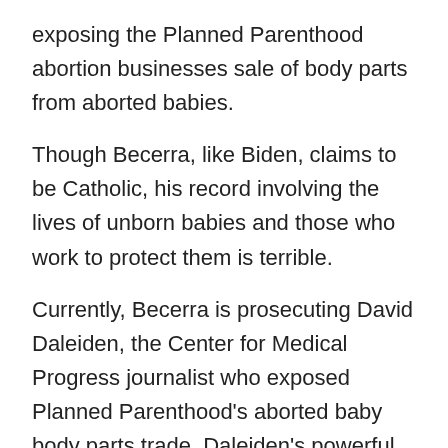exposing the Planned Parenthood abortion businesses sale of body parts from aborted babies.
Though Becerra, like Biden, claims to be Catholic, his record involving the lives of unborn babies and those who work to protect them is terrible.
Currently, Becerra is prosecuting David Daleiden, the Center for Medical Progress journalist who exposed Planned Parenthood's aborted baby body parts trade. Daleiden's powerful exposé led to the shutdown of two companies that sold aborted baby body parts in California.
However, Becerra is pursuing multiple felony charges against him and fellow investigator Sandra Merritt. If